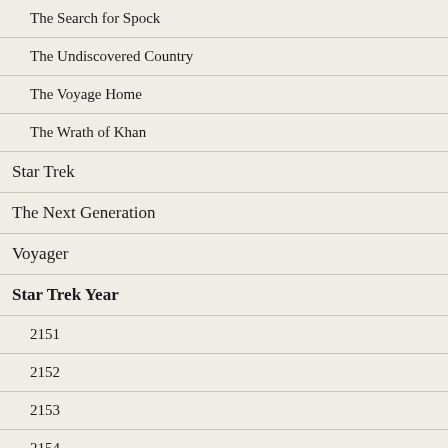The Search for Spock
The Undiscovered Country
The Voyage Home
The Wrath of Khan
Star Trek
The Next Generation
Voyager
Star Trek Year
2151
2152
2153
2154
2155